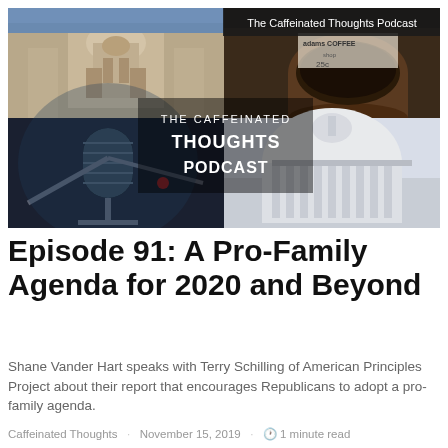[Figure (photo): The Caffeinated Thoughts Podcast cover art collage: top-left cathedral facade, top-right coffee cup, bottom-left microphone, bottom-right US Capitol dome, with 'THE CAFFEINATED THOUGHTS PODCAST' text overlay. Dark banner top-right reads 'The Caffeinated Thoughts Podcast'.]
Episode 91: A Pro-Family Agenda for 2020 and Beyond
Shane Vander Hart speaks with Terry Schilling of American Principles Project about their report that encourages Republicans to adopt a pro-family agenda.
Caffeinated Thoughts · November 15, 2019 · 🕐 1 minute read